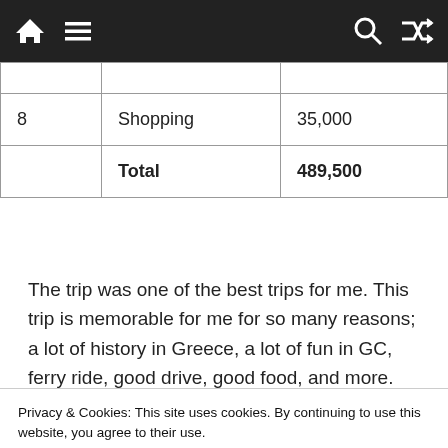Navigation bar with home, menu, search, and shuffle icons
|  |  |  |
| --- | --- | --- |
|  |  |  |
| 8 | Shopping | 35,000 |
|  | Total | 489,500 |
The trip was one of the best trips for me. This trip is memorable for me for so many reasons; a lot of history in Greece, a lot of fun in GC, ferry ride, good drive, good food, and more. While coming back to home, I was feeling very sad and would like to do
Privacy & Cookies: This site uses cookies. By continuing to use this website, you agree to their use.
To find out more, including how to control cookies, see here: Cookie Policy
[Figure (photo): Photo strip at the bottom of the page showing a person with sunglasses outdoors near a building with trees]